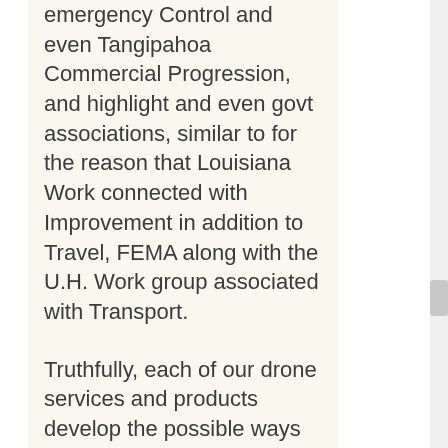emergency Control and even Tangipahoa Commercial Progression, and highlight and even govt associations, similar to for the reason that Louisiana Work connected with Improvement in addition to Travel, FEMA along with the U.H. Work group associated with Transport.
Truthfully, each of our drone services and products develop the possible ways to improve strategy man...